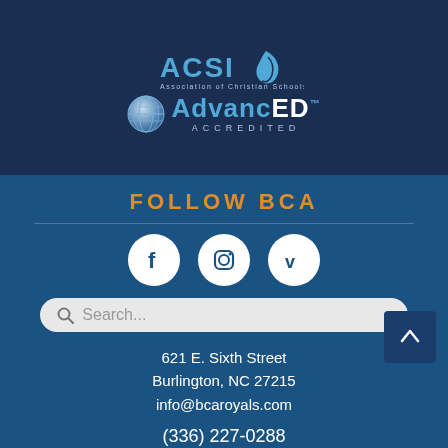[Figure (logo): ACSI - Association of Christian Schools International logo with leaf/flame icon in blue]
[Figure (logo): AdvancED Accredited logo with globe icon]
FOLLOW BCA
[Figure (infographic): Social media icons: Facebook, Instagram, Vimeo - white circles on blue background]
[Figure (screenshot): Search bar with placeholder text 'Search...']
621 E. Sixth Street
Burlington, NC 27215
info@bcaroyals.com
(336) 227-0288
© Copyright 2021 Burlington Christian Academy